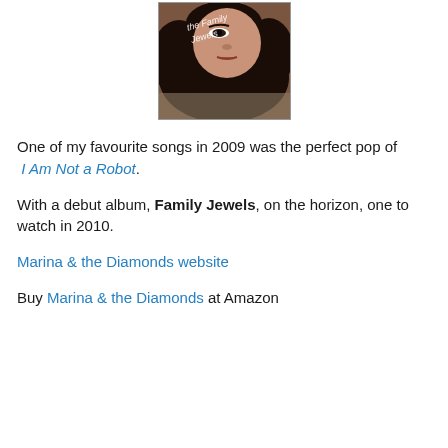[Figure (photo): Album cover for Marina and the Diamonds 'The Family Jewels' showing a woman lying down with dark curly hair and handwritten text overlay]
One of my favourite songs in 2009 was the perfect pop of I Am Not a Robot.
With a debut album, Family Jewels, on the horizon, one to watch in 2010.
Marina & the Diamonds website
Buy Marina & the Diamonds at Amazon